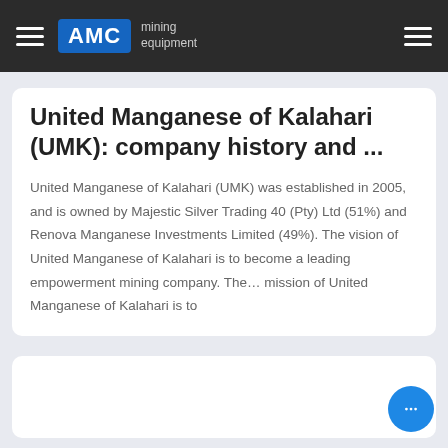AMC mining equipment
United Manganese of Kalahari (UMK): company history and ...
United Manganese of Kalahari (UMK) was established in 2005, and is owned by Majestic Silver Trading 40 (Pty) Ltd (51%) and Renova Manganese Investments Limited (49%). The vision of United Manganese of Kalahari is to become a leading empowerment mining company. The... mission of United Manganese of Kalahari is to